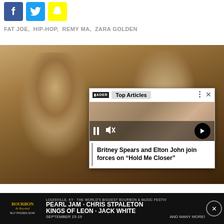[Figure (other): Social media share icons: Facebook (blue), Twitter (light blue), Snapchat (yellow)]
FAT JOE,  HIP-HOP,  REMY MA,  ZARA GOLDEN
[Figure (photo): Two women posing for a photo, warm brown/amber background tones. An overlay video popup shows 'Top Articles' with FADER logo, a video thumbnail of Britney Spears and Elton John, playback controls, and the headline 'Britney Spears and Elton John join forces on "Hold Me Closer"']
[Figure (other): Advertisement banner for Bourbon & Beyond festival: LOUISVILLE, KY · THE WORLD'S BIGGEST BOURBON & MUSIC FESTIVAL. Pearl Jam · Chris Stapleton, Kings of Leon · Jack White, September 15-19, And Many More!]